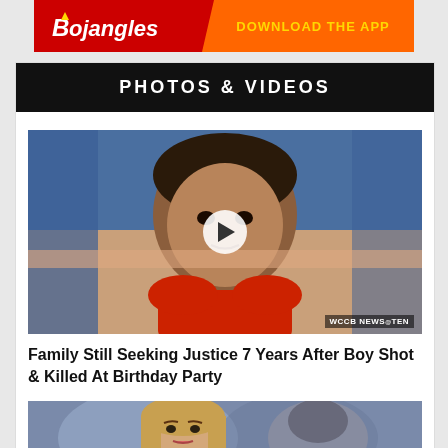[Figure (illustration): Bojangles advertisement banner with red background, Bojangles logo on left and orange 'DOWNLOAD THE APP' text on right]
PHOTOS & VIDEOS
[Figure (photo): Photo of a young Asian boy in a red shirt against a blue background, with a video play button overlay. WCCB NEWS@TEN watermark in bottom right corner.]
Family Still Seeking Justice 7 Years After Boy Shot & Killed At Birthday Party
[Figure (photo): Partial photo of a young woman with long hair, lower portion of page]